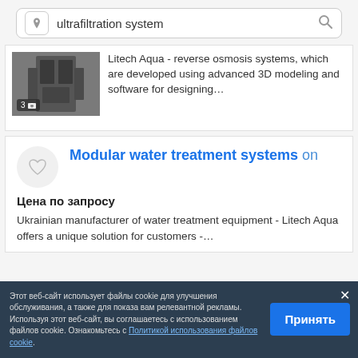ultrafiltration system
Litech Aqua - reverse osmosis systems, which are developed using advanced 3D modeling and software for designing…
Modular water treatment systems on
Цена по запросу
Ukrainian manufacturer of water treatment equipment - Litech Aqua offers a unique solution for customers -…
Этот веб-сайт использует файлы cookie для улучшения обслуживания, а также для показа вам релевантной рекламы. Используя этот веб-сайт, вы соглашаетесь с использованием файлов cookie. Ознакомьтесь с Политикой использования файлов cookie.
Принять